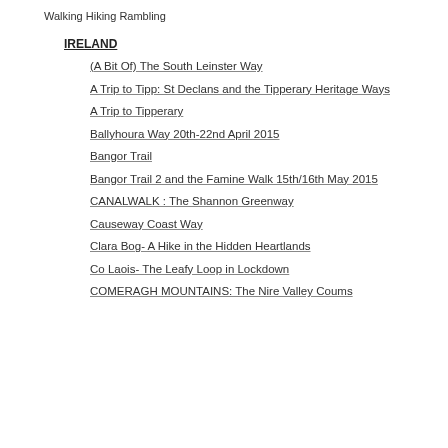Walking Hiking Rambling
IRELAND
(A Bit Of) The South Leinster Way
A Trip to Tipp: St Declans and the Tipperary Heritage Ways
A Trip to Tipperary
Ballyhoura Way 20th-22nd April 2015
Bangor Trail
Bangor Trail 2 and the Famine Walk 15th/16th May 2015
CANALWALK : The Shannon Greenway
Causeway Coast Way
Clara Bog- A Hike in the Hidden Heartlands
Co Laois- The Leafy Loop in Lockdown
COMERAGH MOUNTAINS: The Nire Valley Coums